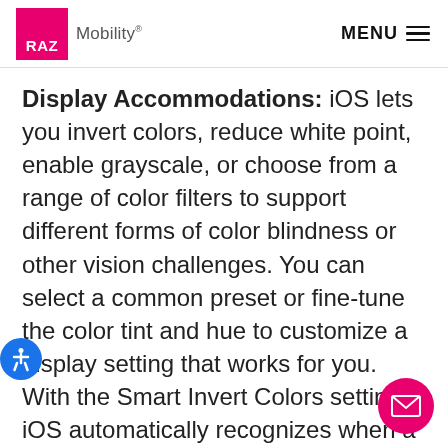RAZ Mobility® MENU
Display Accommodations: iOS lets you invert colors, reduce white point, enable grayscale, or choose from a range of color filters to support different forms of color blindness or other vision challenges. You can select a common preset or fine-tune the color tint and hue to customize a display setting that works for you. With the Smart Invert Colors setting, iOS automatically recognizes when a piece of media is using a dark color style, so you can reverse the colors of the display without affecting the look of images, videos, and certain apps. And once you set your filters, the settings apply to everything